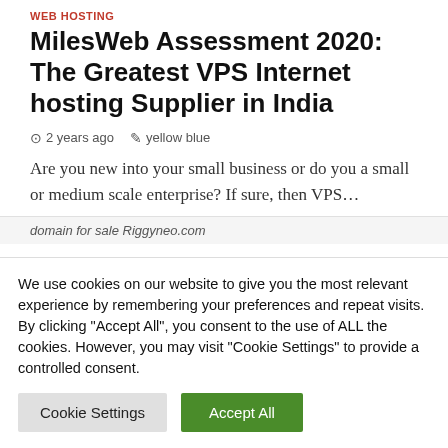WEB HOSTING
MilesWeb Assessment 2020: The Greatest VPS Internet hosting Supplier in India
2 years ago   yellow blue
Are you new into your small business or do you a small or medium scale enterprise? If sure, then VPS…
domain for sale Riggyneo.com
We use cookies on our website to give you the most relevant experience by remembering your preferences and repeat visits. By clicking "Accept All", you consent to the use of ALL the cookies. However, you may visit "Cookie Settings" to provide a controlled consent.